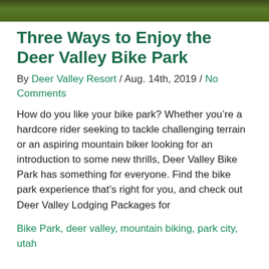[Figure (photo): Outdoor nature photo strip showing green foliage and trees at the top of the page]
Three Ways to Enjoy the Deer Valley Bike Park
By Deer Valley Resort / Aug. 14th, 2019 / No Comments
How do you like your bike park? Whether you’re a hardcore rider seeking to tackle challenging terrain or an aspiring mountain biker looking for an introduction to some new thrills, Deer Valley Bike Park has something for everyone. Find the bike park experience that’s right for you, and check out Deer Valley Lodging Packages for
Bike Park, deer valley, mountain biking, park city, utah